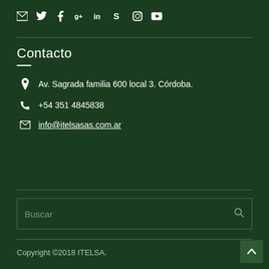[Figure (other): Social media icons row: email, Twitter, Facebook, Google+, LinkedIn, Skype, Instagram, YouTube]
Contacto
Av. Sagrada familia 600 local 3. Córdoba.
+54 351 4845838
info@itelsasas.com.ar
Buscar
Copyright ©2018 ITELSA.